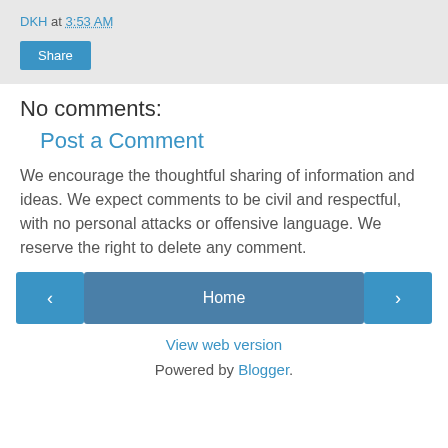DKH at 3:53 AM
Share
No comments:
Post a Comment
We encourage the thoughtful sharing of information and ideas. We expect comments to be civil and respectful, with no personal attacks or offensive language. We reserve the right to delete any comment.
‹  Home  ›
View web version
Powered by Blogger.